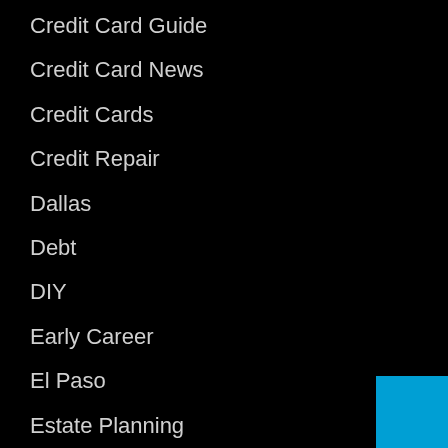Credit Card Guide
Credit Card News
Credit Cards
Credit Repair
Dallas
Debt
DIY
Early Career
El Paso
Estate Planning
Extra Income
Family Finance
Fannie Mae
FHA 203k Loans
FHA Loans